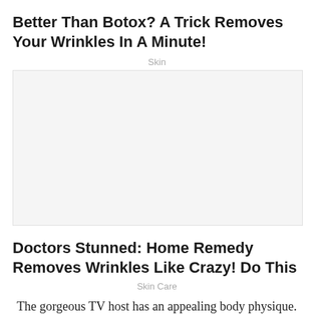Better Than Botox? A Trick Removes Your Wrinkles In A Minute!
Skin
[Figure (photo): Image placeholder area for the article about Botox wrinkle trick]
Doctors Stunned: Home Remedy Removes Wrinkles Like Crazy! Do This
Skin Care
The gorgeous TV host has an appealing body physique. She stands at a height of 5 feet and 6 inches (1.67 meters) with a suitable body